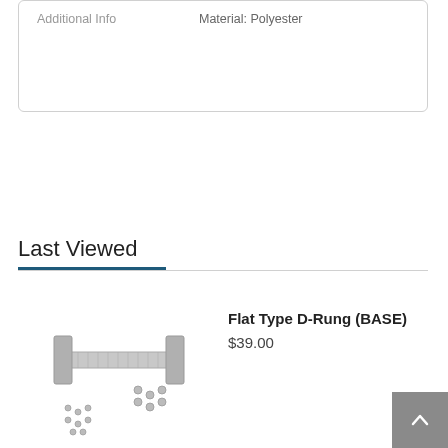| Additional Info |  |
| --- | --- |
| Additional Info | Material: Polyester |
Last Viewed
[Figure (photo): Photo of Flat Type D-Rung (BASE) product — a metal rung with mounting hardware and screws]
Flat Type D-Rung (BASE)
$39.00